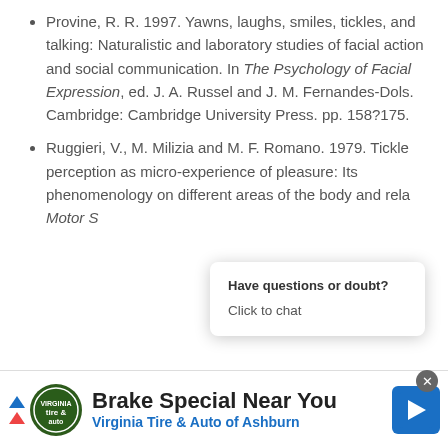Provine, R. R. 1997. Yawns, laughs, smiles, tickles, and talking: Naturalistic and laboratory studies of facial action and social communication. In The Psychology of Facial Expression, ed. J. A. Russel and J. M. Fernandes-Dols. Cambridge: Cambridge University Press. pp. 158?175.
Ruggieri, V., M. Milizia and M. F. Romano. 1979. Tickle perception as micro-experience of pleasure: Its phenomenology on different areas of the body and rela... Motor S...
Stearns...
Have questions or doubt? Click to chat
[Figure (other): Advertisement banner: Brake Special Near You - Virginia Tire & Auto of Ashburn]